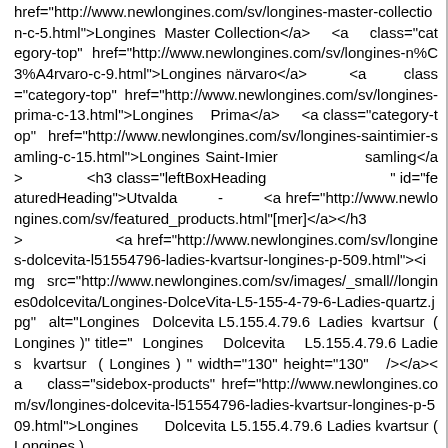href="http://www.newlongines.com/sv/longines-master-collection-c-5.html">Longines Master Collection</a>    <a     class="category-top" href="http://www.newlongines.com/sv/longines-n%C3%A4rvaro-c-9.html">Longines närvaro</a>        <a        class="category-top" href="http://www.newlongines.com/sv/longines-prima-c-13.html">Longines    Prima</a>    <a class="category-top" href="http://www.newlongines.com/sv/longines-saintimier-samling-c-15.html">Longines Saint-Imier            samling</a>            <h3 class="leftBoxHeading                            " id="featuredHeading">Utvalda        -        <a href="http://www.newlongines.com/sv/featured_products.html">[mer]</a></h3>                <a href="http://www.newlongines.com/sv/longines-dolcevita-l51554796-ladies-kvartsur-longines-p-509.html"><img src="http://www.newlongines.com/sv/images/_small//longines0dolcevita/Longines-DolceVita-L5-155-4-79-6-Ladies-quartz.jpg"  alt="Longines   Dolcevita L5.155.4.79.6  Ladies  kvartsur  ( Longines )" title="  Longines   Dolcevita   L5.155.4.79.6 Ladies  kvartsur  ( Longines ) " width="130" height="130"  /></a><a    class="sidebox-products" href="http://www.newlongines.com/sv/longines-dolcevita-l51554796-ladies-kvartsur-longines-p-509.html">Longines     Dolcevita L5.155.4.79.6 Ladies kvartsur ( Longines )